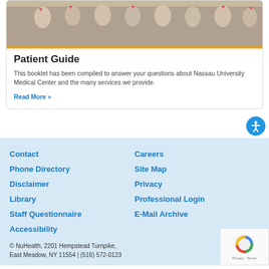[Figure (photo): Group of hospital patients and staff holding red heart-shaped balloons]
Patient Guide
This booklet has been compiled to answer your questions about Nassau University Medical Center and the many services we provide.
Read More »
Contact
Careers
Phone Directory
Site Map
Disclaimer
Privacy
Library
Professional Login
Staff Questionnaire
E-Mail Archive
Accessibility
© NuHealth, 2201 Hempstead Turnpike, East Meadow, NY 11554 | (516) 572-0123